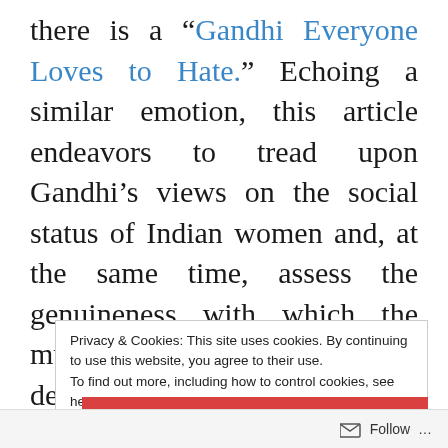there is a “Gandhi Everyone Loves to Hate.” Echoing a similar emotion, this article endeavors to tread upon Gandhi’s views on the social status of Indian women and, at the same time, assess the genuineness with which the much-revered political leader demonstrated his willingness to act upon the causes that he advocated. This topic has invited strong
Privacy & Cookies: This site uses cookies. By continuing to use this website, you agree to their use.
To find out more, including how to control cookies, see here: Cookie Policy
CLOSE AND ACCEPT
Follow